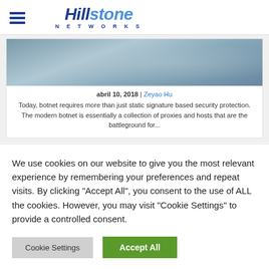Hillstone Networks
[Figure (photo): Blurred gray-toned background image of a person]
abril 10, 2018 | Zeyao Hu
Today, botnet requires more than just static signature based security protection. The modern botnet is essentially a collection of proxies and hosts that are the battleground for...
We use cookies on our website to give you the most relevant experience by remembering your preferences and repeat visits. By clicking "Accept All", you consent to the use of ALL the cookies. However, you may visit "Cookie Settings" to provide a controlled consent.